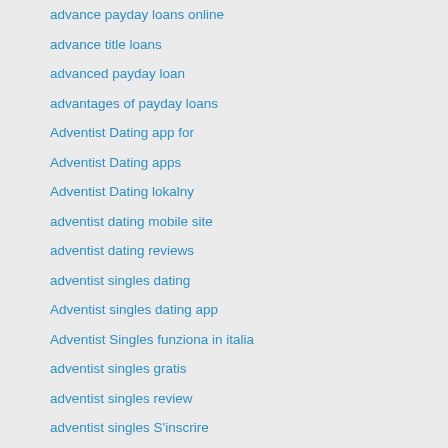advance payday loans online
advance title loans
advanced payday loan
advantages of payday loans
Adventist Dating app for
Adventist Dating apps
Adventist Dating lokalny
adventist dating mobile site
adventist dating reviews
adventist singles dating
Adventist singles dating app
Adventist Singles funziona in italia
adventist singles gratis
adventist singles review
adventist singles S'inscrire